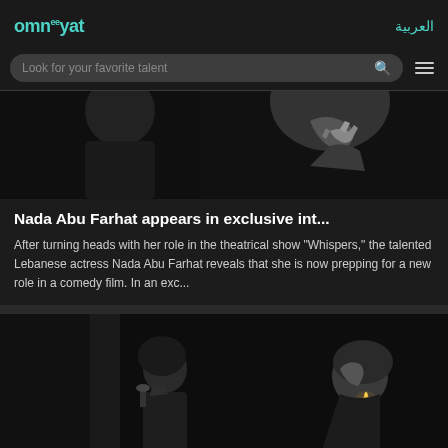omn°°yat | العربية
Look for your favorite talent
[Figure (photo): Black and white photo of a woman in a dark artistic pose]
Nada Abu Farhat appears in exclusive int...
After turning heads with her role in the theatrical show "Whispers," the talented Lebanese actress Nada Abu Farhat reveals that she is now prepping for a new role in a comedy film. In an exc...
[Figure (photo): Dark photo of a woman with a candle/lighter, with a reflection or second person visible]